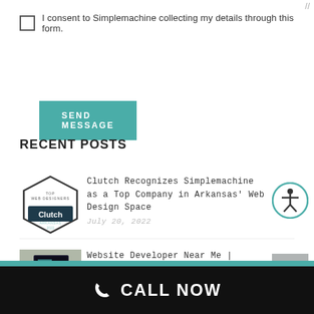I consent to Simplemachine collecting my details through this form.
SEND MESSAGE
RECENT POSTS
[Figure (logo): Clutch Top Web Designers Arkansas 2022 badge - hexagonal shape with Clutch logo]
Clutch Recognizes Simplemachine as a Top Company in Arkansas' Web Design Space
July 20, 2022
[Figure (photo): Person typing on laptop at desk with plant in background]
Website Developer Near Me | WordPress Websites | Bentonville, Arkansas
July 9, 2022
CALL NOW